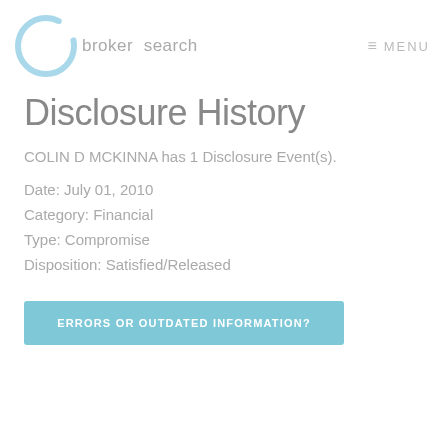broker search  MENU
Disclosure History
COLIN D MCKINNA has 1 Disclosure Event(s).
Date: July 01, 2010
Category: Financial
Type: Compromise
Disposition: Satisfied/Released
ERRORS OR OUTDATED INFORMATION?